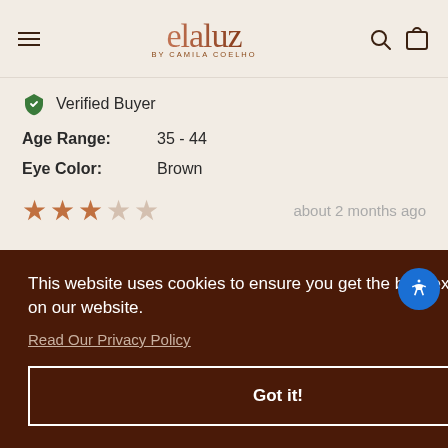elaluz by camila coelho
Verified Buyer
Age Range: 35 - 44
Eye Color: Brown
★★★☆☆  about 2 months ago
This website uses cookies to ensure you get the best experience on our website.
Read Our Privacy Policy
Got it!